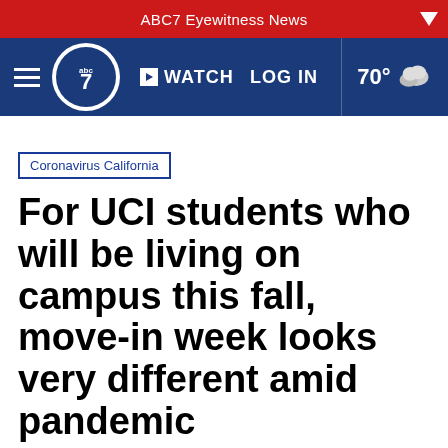ABC7 Eyewitness News
[Figure (logo): ABC7 Eyewitness News navigation bar with hamburger menu, ABC7 logo, WATCH button, LOG IN link, and weather showing 70 degrees]
Coronavirus California
For UCI students who will be living on campus this fall, move-in week looks very different amid pandemic